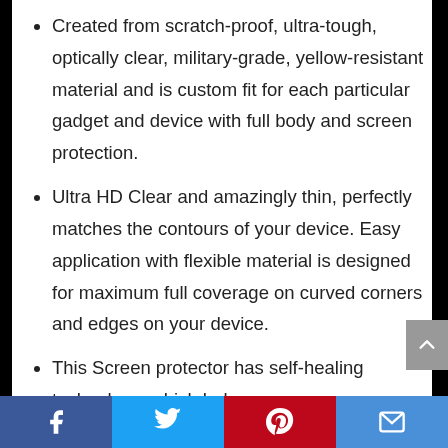Created from scratch-proof, ultra-tough, optically clear, military-grade, yellow-resistant material and is custom fit for each particular gadget and device with full body and screen protection.
Ultra HD Clear and amazingly thin, perfectly matches the contours of your device. Easy application with flexible material is designed for maximum full coverage on curved corners and edges on your device.
This Screen protector has self-healing technology, which helps